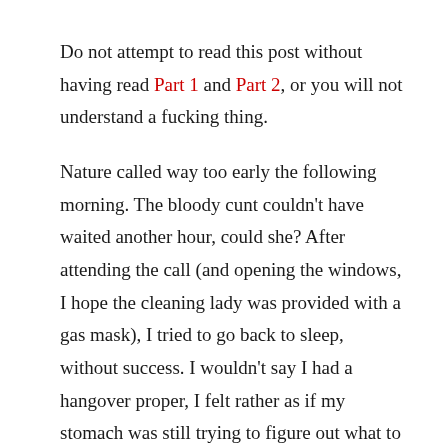Do not attempt to read this post without having read Part 1 and Part 2, or you will not understand a fucking thing.
Nature called way too early the following morning. The bloody cunt couldn't have waited another hour, could she? After attending the call (and opening the windows, I hope the cleaning lady was provided with a gas mask), I tried to go back to sleep, without success. I wouldn't say I had a hangover proper, I felt rather as if my stomach was still trying to figure out what to do with the previous night's dinner.
It was still too early to go down for breakfast, not that I was hungry, actually. I turned on the telly to help me pass the time, but without success, and I ended up reading. I...